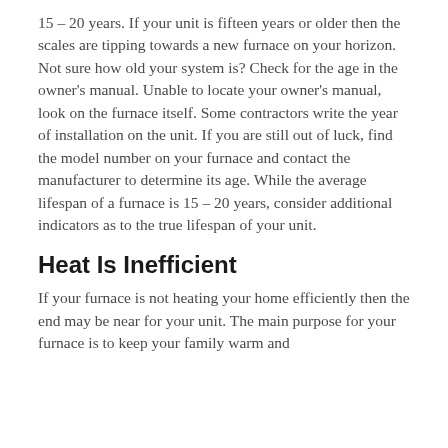15 – 20 years. If your unit is fifteen years or older then the scales are tipping towards a new furnace on your horizon. Not sure how old your system is? Check for the age in the owner's manual. Unable to locate your owner's manual, look on the furnace itself. Some contractors write the year of installation on the unit. If you are still out of luck, find the model number on your furnace and contact the manufacturer to determine its age. While the average lifespan of a furnace is 15 – 20 years, consider additional indicators as to the true lifespan of your unit.
Heat Is Inefficient
If your furnace is not heating your home efficiently then the end may be near for your unit. The main purpose for your furnace is to keep your family warm and